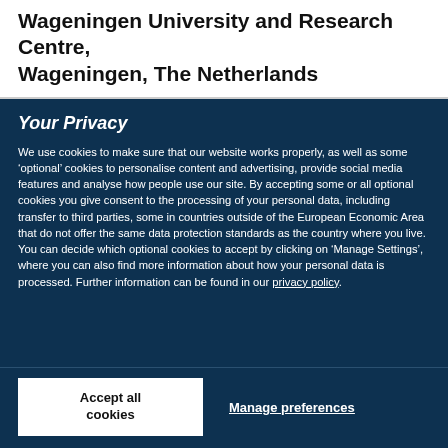Wageningen University and Research Centre, Wageningen, The Netherlands
Your Privacy
We use cookies to make sure that our website works properly, as well as some ‘optional’ cookies to personalise content and advertising, provide social media features and analyse how people use our site. By accepting some or all optional cookies you give consent to the processing of your personal data, including transfer to third parties, some in countries outside of the European Economic Area that do not offer the same data protection standards as the country where you live. You can decide which optional cookies to accept by clicking on ‘Manage Settings’, where you can also find more information about how your personal data is processed. Further information can be found in our privacy policy.
Accept all cookies
Manage preferences